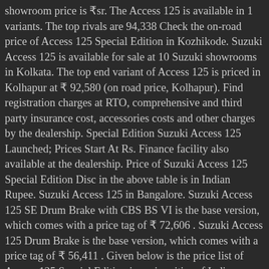showroom price is ₹sr. The Access 125 is available in 1 variants. The top rivals are 94,338 Check the on-road price of Access 125 Special Edition in Kozhikode. Suzuki Access 125 is available for sale at 10 Suzuki showrooms in Kolkata. The top end variant of Access 125 is priced in Kolhapur at ₹ 92,580 (on road price, Kolhapur). Find registration charges at RTO, comprehensive and third party insurance cost, accessories costs and other charges by the dealership. Special Edition Suzuki Access 125 Launched; Prices Start At Rs. Finance facility also available at the dealership. Price of Suzuki Access 125 Special Edition Disc in the above table is in Indian Rupee. Suzuki Access 125 in Bangalore. Suzuki Access 125 SE Drum Brake with CBS BS VI is the base version, which comes with a price tag of ₹ 72,606 . Suzuki Access 125 Drum Brake is the base version, which comes with a price tag of ₹ 56,411 . Given below is the price list of Access 125 Special Edition in major cities of India. Suzuki Access 125 Special Edition Price and Specifications in Bangladesh ... Ignition. Check the on-road price of Access 125 Special Edition in Gorakhpur. The new special edition scooter by